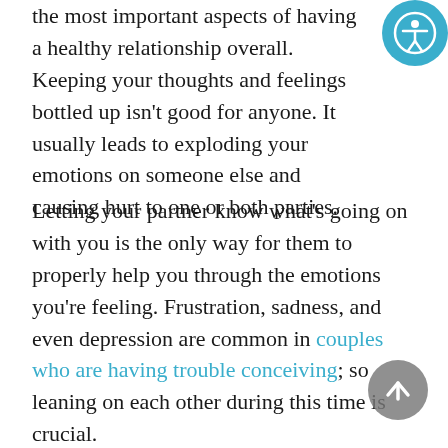the most important aspects of having a healthy relationship overall. Keeping your thoughts and feelings bottled up isn't good for anyone. It usually leads to exploding your emotions on someone else and causing hurt to one or both parties.
Letting your partner know what's going on with you is the only way for them to properly help you through the emotions you're feeling. Frustration, sadness, and even depression are common in couples who are having trouble conceiving; so leaning on each other during this time is crucial.
Make sure you're also asking your significant other how they're feeling; so it's not one-sided. You never know what they may be going through if you don't ask. They may have concerns you never thought
[Figure (other): Accessibility icon (person in circle) in teal/blue circle, top-right corner of page]
[Figure (other): Scroll-to-top arrow button, gray circle, bottom-right corner of page]